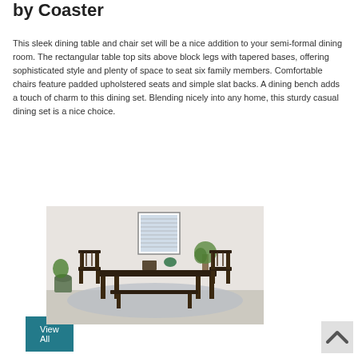by Coaster
This sleek dining table and chair set will be a nice addition to your semi-formal dining room. The rectangular table top sits above block legs with tapered bases, offering sophisticated style and plenty of space to seat six family members. Comfortable chairs feature padded upholstered seats and simple slat backs. A dining bench adds a touch of charm to this dining set. Blending nicely into any home, this sturdy casual dining set is a nice choice.
View All
[Figure (photo): A dark wood dining table set with chairs and a bench in a room setting with a framed picture on the wall and a plant.]